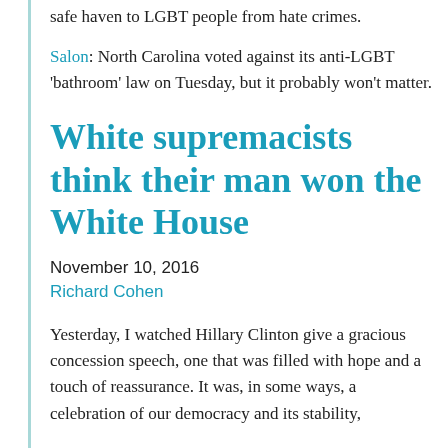safe haven to LGBT people from hate crimes.
Salon: North Carolina voted against its anti-LGBT 'bathroom' law on Tuesday, but it probably won't matter.
White supremacists think their man won the White House
November 10, 2016
Richard Cohen
Yesterday, I watched Hillary Clinton give a gracious concession speech, one that was filled with hope and a touch of reassurance. It was, in some ways, a celebration of our democracy and its stability,